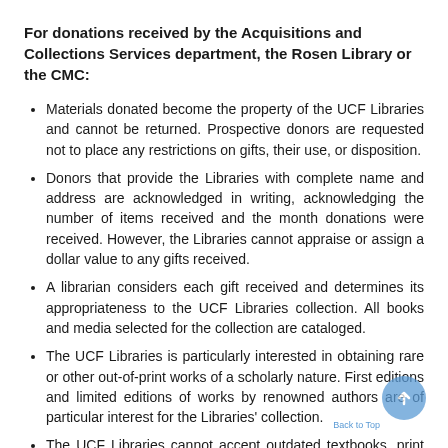For donations received by the Acquisitions and Collections Services department, the Rosen Library or the CMC:
Materials donated become the property of the UCF Libraries and cannot be returned. Prospective donors are requested not to place any restrictions on gifts, their use, or disposition.
Donors that provide the Libraries with complete name and address are acknowledged in writing, acknowledging the number of items received and the month donations were received. However, the Libraries cannot appraise or assign a dollar value to any gifts received.
A librarian considers each gift received and determines its appropriateness to the UCF Libraries collection. All books and media selected for the collection are cataloged.
The UCF Libraries is particularly interested in obtaining rare or other out-of-print works of a scholarly nature. First editions and limited editions of works by renowned authors are of particular interest for the Libraries' collection.
The UCF Libraries cannot accept outdated textbooks, print runs of journals or magazines, or obsolete media formats